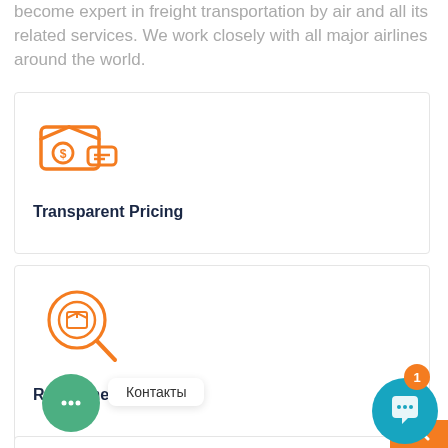become expert in freight transportation by air and all its related services. We work closely with all major airlines around the world.
[Figure (illustration): Orange icon of a wallet/pricing box with dollar sign]
Transparent Pricing
[Figure (illustration): Orange icon of a magnifying glass with package/box inside]
Real-Time Tracking
Контакты